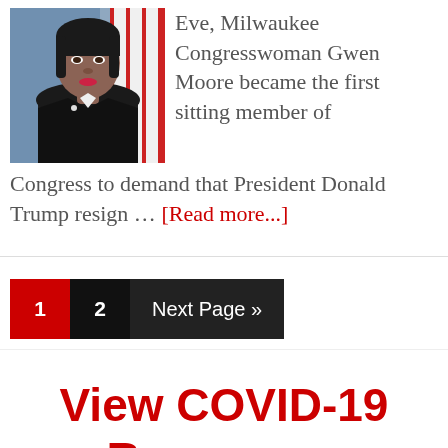[Figure (photo): Headshot photo of Congresswoman Gwen Moore in a black jacket in front of an American flag]
Eve, Milwaukee Congresswoman Gwen Moore became the first sitting member of Congress to demand that President Donald Trump resign … [Read more...]
1
2
Next Page »
View COVID-19 Resources